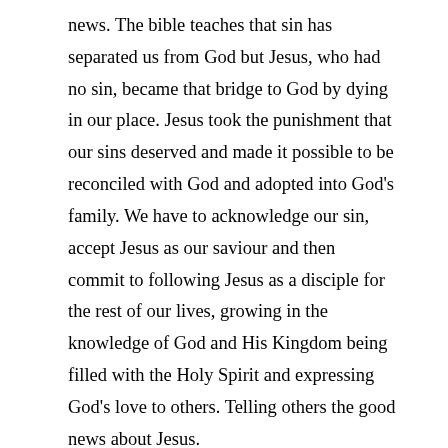news. The bible teaches that sin has separated us from God but Jesus, who had no sin, became that bridge to God by dying in our place. Jesus took the punishment that our sins deserved and made it possible to be reconciled with God and adopted into God's family. We have to acknowledge our sin, accept Jesus as our saviour and then commit to following Jesus as a disciple for the rest of our lives, growing in the knowledge of God and His Kingdom being filled with the Holy Spirit and expressing God's love to others. Telling others the good news about Jesus.
You see, at just the right time, when we were still powerless, Christ died for the ungodly. Very rarely will anyone die for a righteous person, though for a good person someone might possibly dare to die. But God